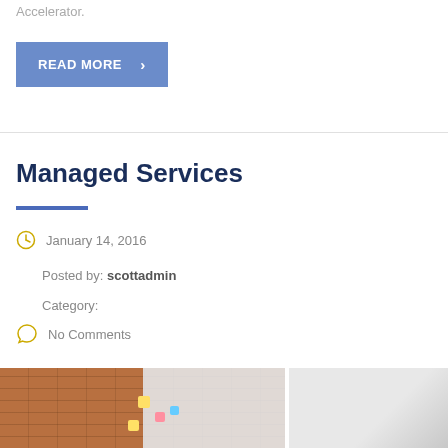Accelerator.
READ MORE ›
Managed Services
January 14, 2016
Posted by: scottadmin
Category:
No Comments
[Figure (photo): Left photo: people in front of a brick wall with a whiteboard covered in sticky notes and writing. Right photo: two men in a bright office or meeting setting.]